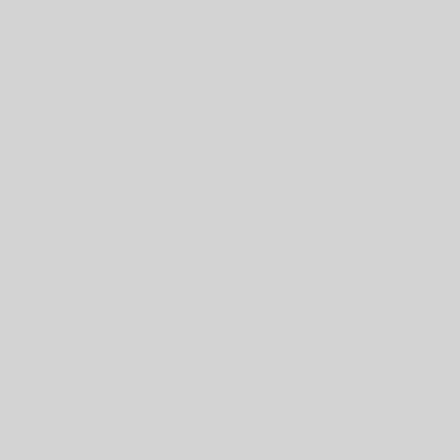[Figure (map): Gray map area showing a geographic region, left half of page]
55429
County:
Hennepin - 27
Congressional: 5
Legislative Senate: 40
Legislative House: 40B
Latitude: 45.063090
Longitude: -93.32611
Mailing: 5929